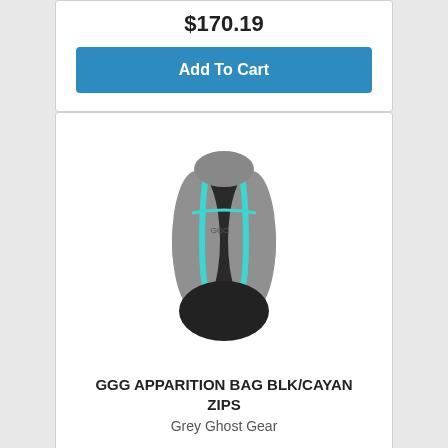$170.19
Add To Cart
[Figure (photo): Grey Ghost Gear Apparition backpack in grey/black with cyan zipper accents, viewed from the back, showing straps and contoured design]
GGG APPARITION BAG BLK/CAYAN ZIPS
Grey Ghost Gear
$170.19
Add To Cart